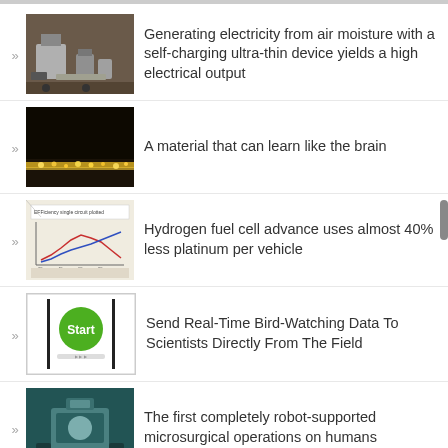Generating electricity from air moisture with a self-charging ultra-thin device yields a high electrical output
A material that can learn like the brain
Hydrogen fuel cell advance uses almost 40% less platinum per vehicle
Send Real-Time Bird-Watching Data To Scientists Directly From The Field
The first completely robot-supported microsurgical operations on humans
Another Honda Bombshell: 3R-C single-person electric concept
Could air conditioning be made more sustainable